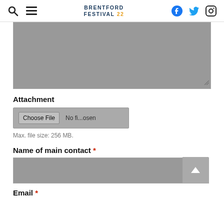Brentford Festival 22 — navigation header with search, menu, logo, Facebook, Twitter, Instagram icons
[Figure (screenshot): Gray textarea form field (resizable) for text input]
Attachment
[Figure (screenshot): File input control showing 'Choose File  No fi...osen']
Max. file size: 256 MB.
Name of main contact *
[Figure (screenshot): Gray text input field for name of main contact]
Email *